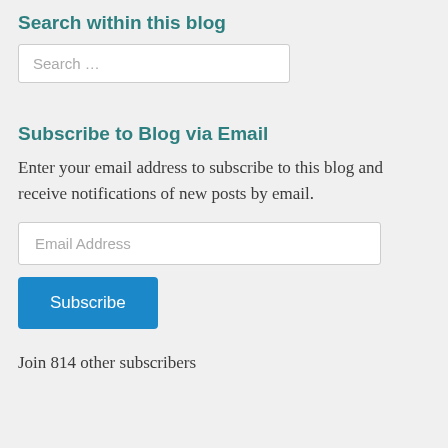Search within this blog
[Figure (screenshot): Search input box with placeholder text 'Search …']
Subscribe to Blog via Email
Enter your email address to subscribe to this blog and receive notifications of new posts by email.
[Figure (screenshot): Email address input box with placeholder text 'Email Address']
[Figure (screenshot): Blue Subscribe button]
Join 814 other subscribers